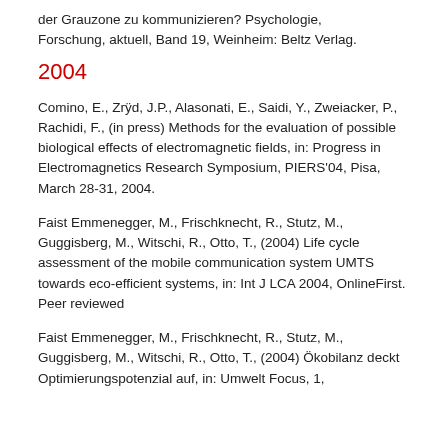der Grauzone zu kommunizieren? Psychologie, Forschung, aktuell, Band 19, Weinheim: Beltz Verlag.
2004
Comino, E., Zrÿd, J.P., Alasonati, E., Saidi, Y., Zweiacker, P., Rachidi, F., (in press) Methods for the evaluation of possible biological effects of electromagnetic fields, in: Progress in Electromagnetics Research Symposium, PIERS'04, Pisa, March 28-31, 2004.
Faist Emmenegger, M., Frischknecht, R., Stutz, M., Guggisberg, M., Witschi, R., Otto, T., (2004) Life cycle assessment of the mobile communication system UMTS towards eco-efficient systems, in: Int J LCA 2004, OnlineFirst. Peer reviewed
Faist Emmenegger, M., Frischknecht, R., Stutz, M., Guggisberg, M., Witschi, R., Otto, T., (2004) Ökobilanz deckt Optimierungspotenzial auf, in: Umwelt Focus, 1,